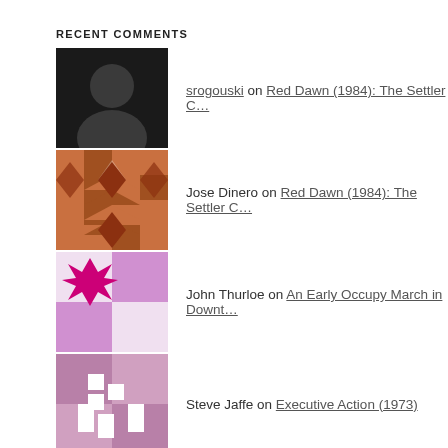RECENT COMMENTS
srogouski on Red Dawn (1984): The Settler C…
Jose Dinero on Red Dawn (1984): The Settler C…
John Thurloe on An Early Occupy March in Downt…
Steve Jaffe on Executive Action (1973)
iamselma on Executive Action (1973)
ARCHIVES
November 2021